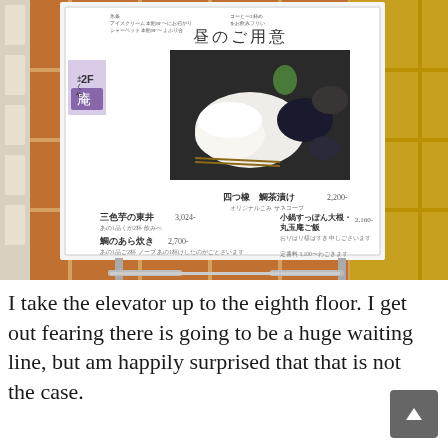[Figure (photo): A photograph of a Japanese restaurant menu board on a stand, showing lunch specials with Japanese text and a food photo. The menu board shows items including 四つ橡 鯛茶漬け 2,200, 小鍋すっぽん大根・丸玉庵ご飯 2,160, 三色芋の東井 3,024, 鯛のあら炊き 2,200. The sign shows 昼のご用意 (Lunch Preparation) and has a 2F with 庵 logo. The stand is placed on terracotta tile flooring.]
I take the elevator up to the eighth floor. I get out fearing there is going to be a huge waiting line, but am happily surprised that that is not the case.